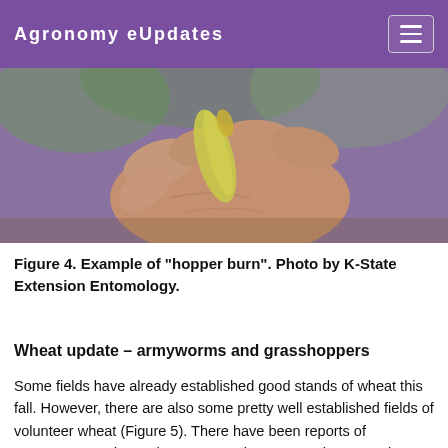Agronomy eUpdates
[Figure (photo): Close-up photograph of a hand holding a yellowed/burned wheat leaf, showing hopper burn damage. Background shows out-of-focus green foliage.]
Figure 4. Example of “hopper burn”. Photo by K-State Extension Entomology.
Wheat update – armyworms and grasshoppers
Some fields have already established good stands of wheat this fall. However, there are also some pretty well established fields of volunteer wheat (Figure 5). There have been reports of armyworms and grasshoppers causing concern in some wheat fields that are struggling